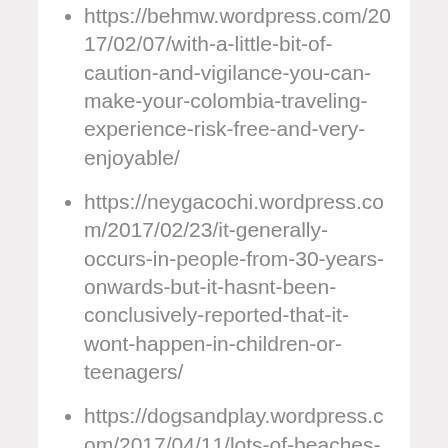https://behmw.wordpress.com/2017/02/07/with-a-little-bit-of-caution-and-vigilance-you-can-make-your-colombia-traveling-experience-risk-free-and-very-enjoyable/
https://neygacochi.wordpress.com/2017/02/23/it-generally-occurs-in-people-from-30-years-onwards-but-it-hasnt-been-conclusively-reported-that-it-wont-happen-in-children-or-teenagers/
https://dogsandplay.wordpress.com/2017/04/11/lots-of-beaches-and-other-touristy-attractions-such-as-museums-and-other-sight-seeing-spots-will-keep-you-entertained-when-on-vacation-here/
https://fraderofen.wordpress.com/20